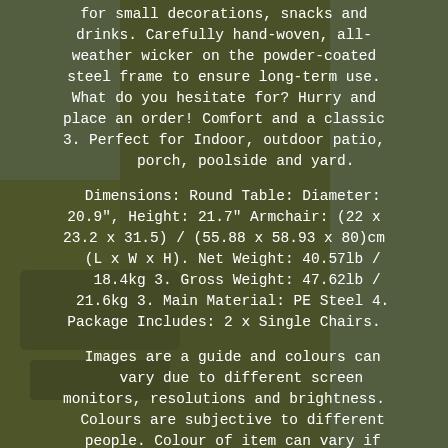for small decorations, snacks and drinks. Carefully hand-woven, all-weather wicker on the powder-coated steel frame to ensure long-term use. What do you hesitate for? Hurry and place an order! Comfort and a classic 3. Perfect for Indoor, outdoor patio, porch, poolside and yard.
Dimensions: Round Table: Diameter: 20.9", Height: 21.7" Armchair: (22 x 23.2 x 31.5) / (55.88 x 58.93 x 80)cm (L x W x H). Net Weight: 40.57lb / 18.4kg 3. Gross Weight: 47.62lb / 21.6kg 3. Main Material: PE Steel 4. Package Includes: 2 x Single Chairs.
Images are a guide and colours can vary due to different screen monitors, resolutions and brightness. Colours are subjective to different people. Colour of item can vary if item is indoors with artificial lighting, outdoors on a cloudy day, outdoors on a sunny day? This item